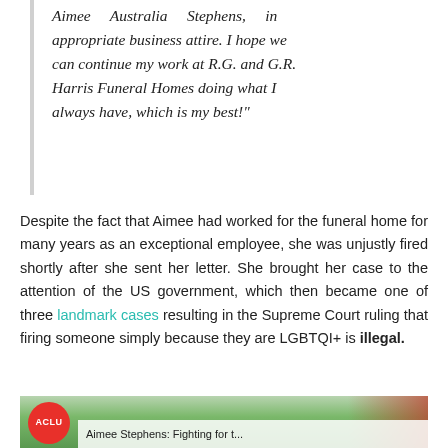Aimee Australia Stephens, in appropriate business attire. I hope we can continue my work at R.G. and G.R. Harris Funeral Homes doing what I always have, which is my best!"
Despite the fact that Aimee had worked for the funeral home for many years as an exceptional employee, she was unjustly fired shortly after she sent her letter. She brought her case to the attention of the US government, which then became one of three landmark cases resulting in the Supreme Court ruling that firing someone simply because they are LGBTQI+ is illegal.
[Figure (photo): Partial image showing a green and red decorative background with ACLU logo badge on the left and partial caption text reading 'Aimee Stephens: Fighting for t...']